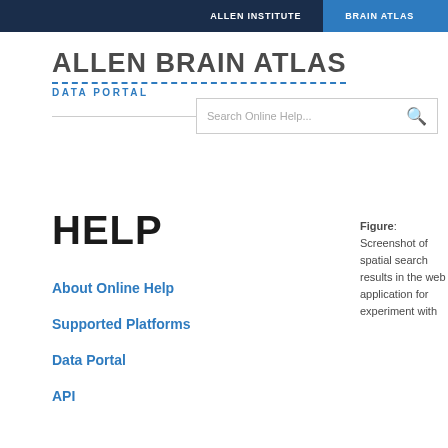ALLEN INSTITUTE   BRAIN ATLAS
ALLEN BRAIN ATLAS
DATA PORTAL
[Figure (screenshot): Search bar with placeholder text 'Search Online Help...' and a search icon]
HELP
About Online Help
Supported Platforms
Data Portal
API
Figure: Screenshot of spatial search results in the web application for experiment with